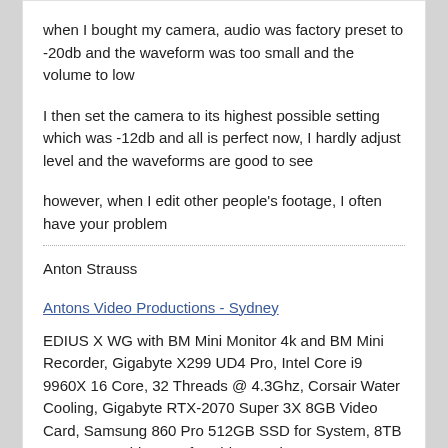when I bought my camera, audio was factory preset to -20db and the waveform was too small and the volume to low
I then set the camera to its highest possible setting which was -12db and all is perfect now, I hardly adjust level and the waveforms are good to see
however, when I edit other people's footage, I often have your problem
Anton Strauss
Antons Video Productions - Sydney
EDIUS X WG with BM Mini Monitor 4k and BM Mini Recorder, Gigabyte X299 UD4 Pro, Intel Core i9 9960X 16 Core, 32 Threads @ 4.3Ghz, Corsair Water Cooling, Gigabyte RTX-2070 Super 3X 8GB Video Card, Samsung 860 Pro 512GB SSD for System, 8TB Samsung Raid0 SSD for Video, 2 Pioneer BDR-209 Blu-ray/DVD burners, Hotswap Bay for 3.5" Sata and 2.5" SSD, Phanteks Enthoo Pro XL Tower, Corsair 32GB DDR4 Ram, Win10 Pro 21H2
SRsupport
Grass Cutter Gold